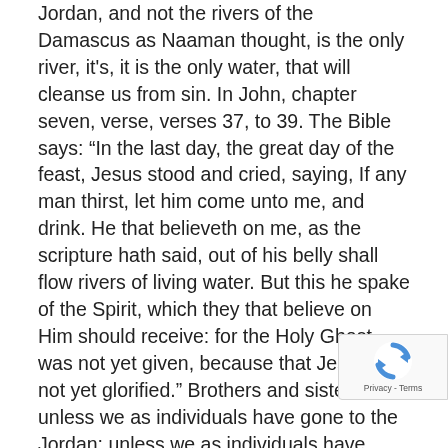Jordan, and not the rivers of the Damascus as Naaman thought, is the only river, it's, it is the only water, that will cleanse us from sin. In John, chapter seven, verse, verses 37, to 39. The Bible says: “In the last day, the great day of the feast, Jesus stood and cried, saying, If any man thirst, let him come unto me, and drink. He that believeth on me, as the scripture hath said, out of his belly shall flow rivers of living water. But this he spake of the Spirit, which they that believe on Him should receive: for the Holy Ghost was not yet given, because that Jesus was not yet glorified.” Brothers and sisters, unless we as individuals have gone to the Jordan; unless we as individuals have allowed the Holy Spirit to work upon our hearts; unless we as individuals, become a source of this, these rivers of living waters. And then what part are we to play in the works of the remnant in these last days? The sa river is presented again in Revelation 22 verse one, same symbology is used there, where the Bible says
[Figure (other): reCAPTCHA badge widget with rotating arrows logo and 'Privacy - Terms' text]